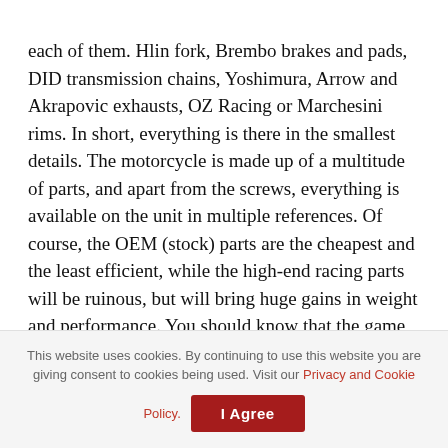each of them. Hlin fork, Brembo brakes and pads, DID transmission chains, Yoshimura, Arrow and Akrapovic exhausts, OZ Racing or Marchesini rims. In short, everything is there in the smallest details. The motorcycle is made up of a multitude of parts, and apart from the screws, everything is available on the unit in multiple references. Of course, the OEM (stock) parts are the cheapest and the least efficient, while the high-end racing parts will be ruinous, but will bring huge gains in weight and performance. You should know that the game has an educational aspect, because each piece must be installed as in reality. Clearly, to change the front fork, you will have to remove the wheels, the braking system, the ...
This website uses cookies. By continuing to use this website you are giving consent to cookies being used. Visit our Privacy and Cookie Policy. I Agree